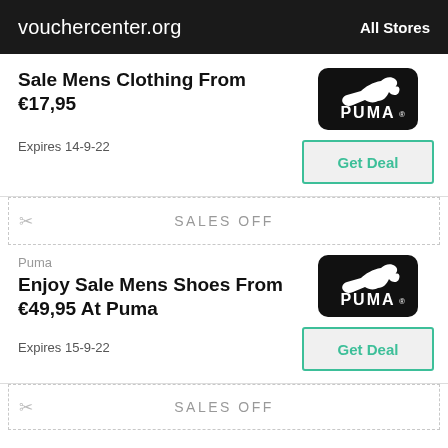vouchercenter.org   All Stores
Sale Mens Clothing From €17,95
Expires 14-9-22
[Figure (logo): Puma logo - white puma cat and PUMA text on black rounded square background]
Get Deal
SALES OFF
Puma
Enjoy Sale Mens Shoes From €49,95 At Puma
Expires 15-9-22
[Figure (logo): Puma logo - white puma cat and PUMA text on black rounded square background]
Get Deal
SALES OFF